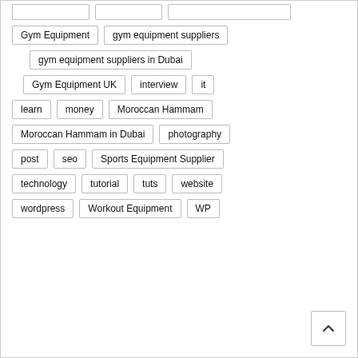Gym Equipment
gym equipment suppliers
gym equipment suppliers in Dubai
Gym Equipment UK
interview
it
learn
money
Moroccan Hammam
Moroccan Hammam in Dubai
photography
post
seo
Sports Equipment Supplier
technology
tutorial
tuts
website
wordpress
Workout Equipment
WP